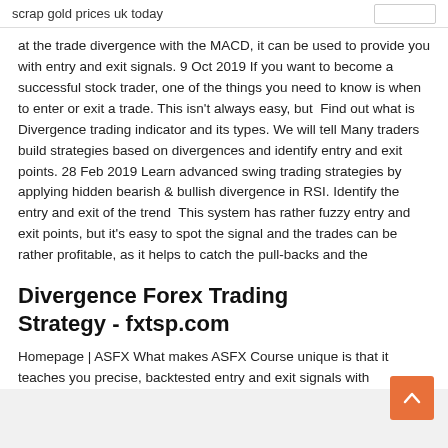scrap gold prices uk today
at the trade divergence with the MACD, it can be used to provide you with entry and exit signals. 9 Oct 2019 If you want to become a successful stock trader, one of the things you need to know is when to enter or exit a trade. This isn't always easy, but  Find out what is Divergence trading indicator and its types. We will tell Many traders build strategies based on divergences and identify entry and exit points. 28 Feb 2019 Learn advanced swing trading strategies by applying hidden bearish & bullish divergence in RSI. Identify the entry and exit of the trend  This system has rather fuzzy entry and exit points, but it's easy to spot the signal and the trades can be rather profitable, as it helps to catch the pull-backs and the
Divergence Forex Trading Strategy - fxtsp.com
Homepage | ASFX What makes ASFX Course unique is that it teaches you precise, backtested entry and exit signals with